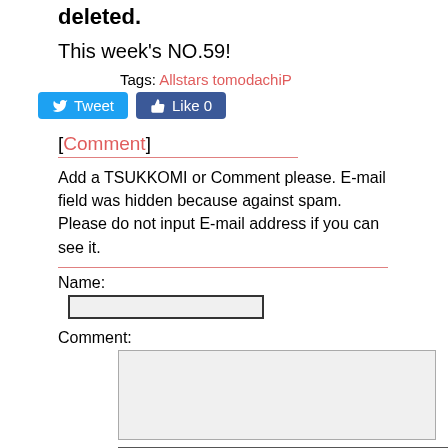deleted.
This week's NO.59!
Tags: Allstars tomodachiP
[Figure (other): Tweet button and Like 0 button (social share buttons)]
[Comment]
Add a TSUKKOMI or Comment please. E-mail field was hidden because against spam. Please do not input E-mail address if you can see it.
Name:
[Figure (other): Name text input field]
Comment:
[Figure (other): Comment textarea input field]
[Figure (other): Submit button]